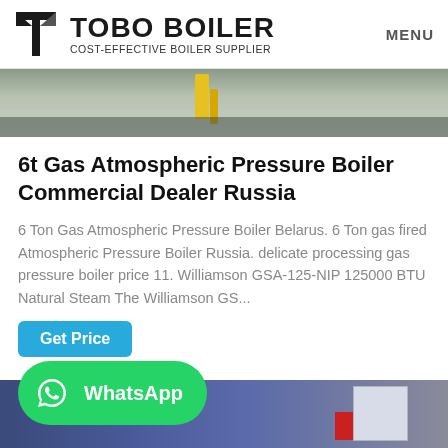TOBO BOILER COST-EFFECTIVE BOILER SUPPLIER | MENU
[Figure (photo): Top portion of industrial boiler equipment, partially visible, with yellow structural element and machinery in a warehouse setting]
6t Gas Atmospheric Pressure Boiler Commercial Dealer Russia
6 Ton Gas Atmospheric Pressure Boiler Belarus. 6 Ton gas fired Atmospheric Pressure Boiler Russia. delicate processing gas pressure boiler price 11. Williamson GSA-125-NIP 125000 BTU Natural Steam The Williamson GS...
[Figure (screenshot): Get Price button (cyan/blue) and WhatsApp button (green) for contacting the supplier]
[Figure (photo): Bottom portion showing industrial boiler unit, blue metal casing with white panel and red component, in warehouse setting]